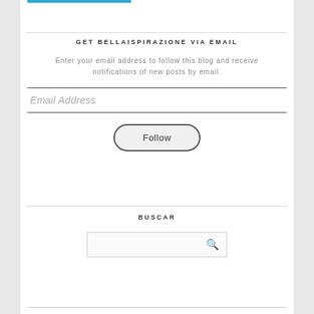[Figure (other): Blue horizontal bar at top left]
GET BELLAISPIRAZIONE VIA EMAIL
Enter your email address to follow this blog and receive notifications of new posts by email.
[Figure (other): Email Address input field]
[Figure (other): Follow button, rounded rectangle]
BUSCAR
[Figure (other): Search input box with magnifying glass icon]